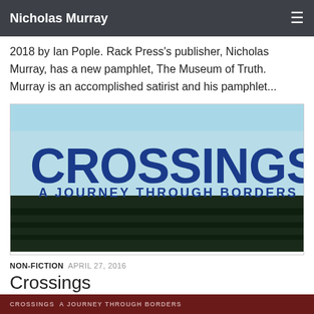Nicholas Murray
2018 by Ian Pople. Rack Press's publisher, Nicholas Murray, has a new pamphlet, The Museum of Truth. Murray is an accomplished satirist and his pamphlet...
[Figure (illustration): Book cover image for 'Crossings: A Journey Through Borders'. Light blue background with dark blue large title text 'CROSSINGS' and subtitle 'A JOURNEY THROUGH BORDERS'. Bottom portion shows a dark green/black photographic image of a landscape.]
NON-FICTION  APRIL 27, 2016
Crossings
CROSSINGS A JOURNEY THROUGH BORDERS